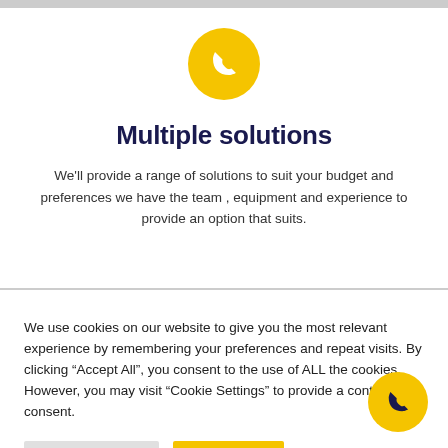[Figure (illustration): Yellow circle with white phone/telephone handset icon inside]
Multiple solutions
We'll provide a range of solutions to suit your budget and preferences we have the team , equipment and experience to provide an option that suits.
We use cookies on our website to give you the most relevant experience by remembering your preferences and repeat visits. By clicking “Accept All”, you consent to the use of ALL the cookies. However, you may visit "Cookie Settings" to provide a controlled consent.
[Figure (illustration): Yellow circle with white phone/telephone handset icon, bottom right corner]